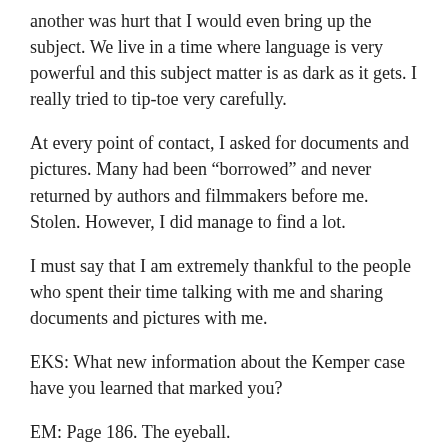another was hurt that I would even bring up the subject. We live in a time where language is very powerful and this subject matter is as dark as it gets. I really tried to tip-toe very carefully.
At every point of contact, I asked for documents and pictures. Many had been “borrowed” and never returned by authors and filmmakers before me. Stolen. However, I did manage to find a lot.
I must say that I am extremely thankful to the people who spent their time talking with me and sharing documents and pictures with me.
EKS: What new information about the Kemper case have you learned that marked you?
EM: Page 186. The eyeball.